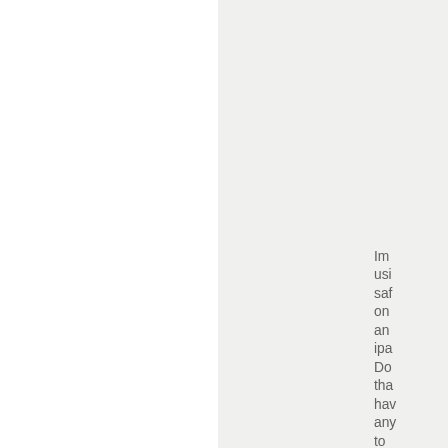Im usi saf on an ipa Do tha hav any to do wit 'bb cod
Act i see